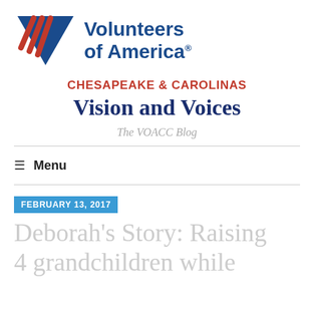[Figure (logo): Volunteers of America logo with blue triangle shape and red diagonal stripes, with 'Volunteers of America' text in bold blue]
CHESAPEAKE & CAROLINAS
Vision and Voices
The VOACC Blog
≡ Menu
FEBRUARY 13, 2017
Deborah's Story: Raising 4 grandchildren while